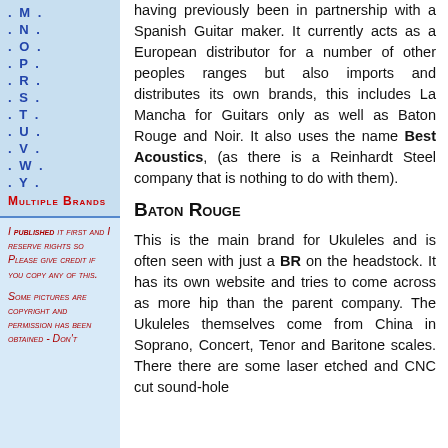. M .
. N .
. O .
. P .
. R .
. S .
. T .
. U .
. V .
. W .
. Y .
Multiple Brands
I published it first and I reserve rights so Please give credit if you copy any of this.
Some pictures are copyright and permission has been obtained - Don't
having previously been in partnership with a Spanish Guitar maker. It currently acts as a European distributor for a number of other peoples ranges but also imports and distributes its own brands, this includes La Mancha for Guitars only as well as Baton Rouge and Noir. It also uses the name Best Acoustics, (as there is a Reinhardt Steel company that is nothing to do with them).
Baton Rouge
This is the main brand for Ukuleles and is often seen with just a BR on the headstock. It has its own website and tries to come across as more hip than the parent company. The Ukuleles themselves come from China in Soprano, Concert, Tenor and Baritone scales. There there are some laser etched and CNC cut sound-hole